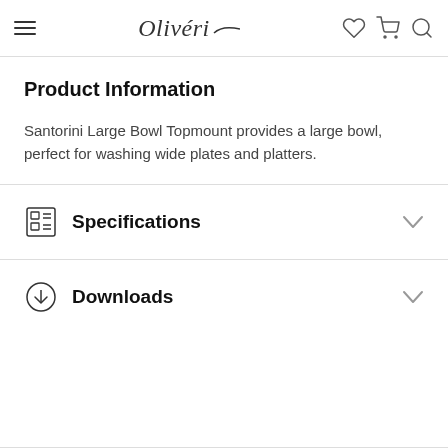Olivéri — navigation header with hamburger menu, logo, heart, cart, and search icons
Product Information
Santorini Large Bowl Topmount provides a large bowl, perfect for washing wide plates and platters.
Specifications
Downloads